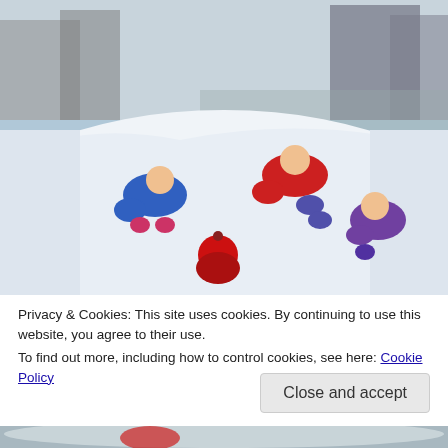[Figure (photo): Children in winter clothing climbing a large snow pile outdoors. One child in blue snowsuit with pink boots, one in red coat climbing up, one in purple snowsuit on the right, and one in red hat at the bottom center. Trees and chain-link fence visible in background.]
Privacy & Cookies: This site uses cookies. By continuing to use this website, you agree to their use.
To find out more, including how to control cookies, see here: Cookie Policy
Close and accept
[Figure (photo): Partial view of another photo at the bottom, showing a person in a red item of clothing on snow.]